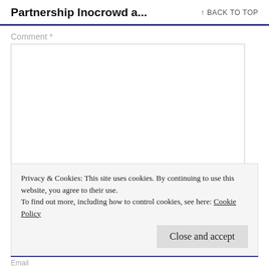Partnership Inocrowd a...
Comment *
[Figure (screenshot): Empty comment textarea input box with resize handle]
Privacy & Cookies: This site uses cookies. By continuing to use this website, you agree to their use.
To find out more, including how to control cookies, see here: Cookie Policy
Close and accept
Email